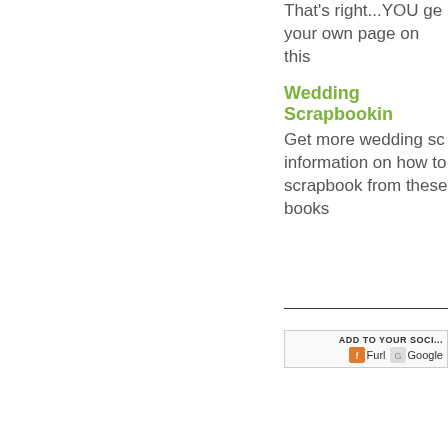That's right...YOU get your own page on this
Wedding Scrapbookin
Get more wedding sc information on how to scrapbook from these books
ADD TO YOUR SOCI... Furl Google
[Figure (other): Social bookmarking icons: Furl and Google]